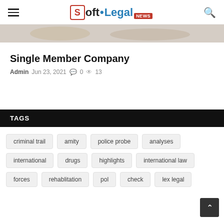Soft.Legal NEWS
[Figure (photo): Partial view of a food/lifestyle photo at top of article]
Single Member Company
Admin  Jun 23, 2021  0  13
TAGS
criminal trail
amity
police probe
analyses
international
drugs
highlights
international law
forces
rehablitation
pol
check
lex legal